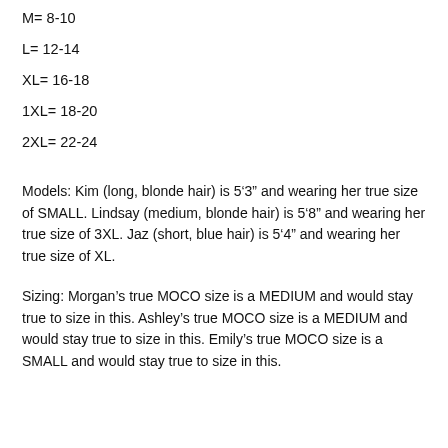M= 8-10
L= 12-14
XL= 16-18
1XL= 18-20
2XL= 22-24
Models: Kim (long, blonde hair) is 5‘3” and wearing her true size of SMALL. Lindsay (medium, blonde hair) is 5‘8” and wearing her true size of 3XL. Jaz (short, blue hair) is 5‘4” and wearing her true size of XL.
Sizing: Morgan's true MOCO size is a MEDIUM and would stay true to size in this. Ashley's true MOCO size is a MEDIUM and would stay true to size in this. Emily's true MOCO size is a SMALL and would stay true to size in this.